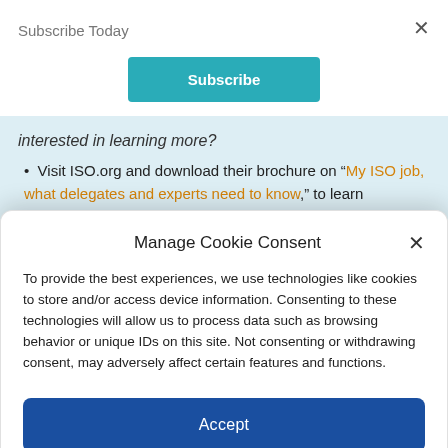Subscribe Today
Subscribe
interested in learning more?
Visit ISO.org and download their brochure on “My ISO job, what delegates and experts need to know,” to learn
Manage Cookie Consent
To provide the best experiences, we use technologies like cookies to store and/or access device information. Consenting to these technologies will allow us to process data such as browsing behavior or unique IDs on this site. Not consenting or withdrawing consent, may adversely affect certain features and functions.
Accept